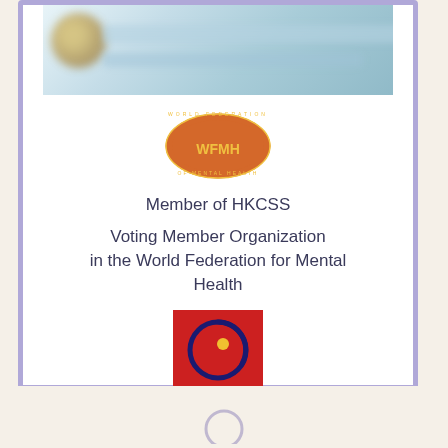[Figure (logo): Blurred banner image at top of card with blue/teal gradient and golden circular element]
[Figure (logo): WFMH (World Federation of Mental Health) oval logo with orange background and gold text]
Member of HKCSS
Voting Member Organization in the World Federation for Mental Health
[Figure (logo): World Council for Psychotherapy logo - red square with dark blue spiral and yellow/gold dot]
Member with the World Council for Psychotherapy